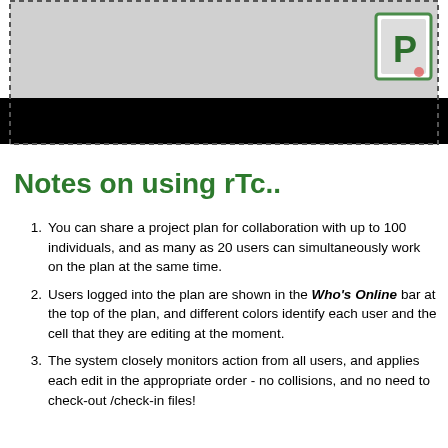[Figure (screenshot): Gray header area with a dashed border outline and a black bar at the bottom. A green 'P' icon (Microsoft Project logo) is visible in the upper right corner.]
Notes on using rTc..
You can share a project plan for collaboration with up to 100 individuals, and as many as 20 users can simultaneously work on the plan at the same time.
Users logged into the plan are shown in the Who's Online bar at the top of the plan, and different colors identify each user and the cell that they are editing at the moment.
The system closely monitors action from all users, and applies each edit in the appropriate order - no collisions, and no need to check-out /check-in files!